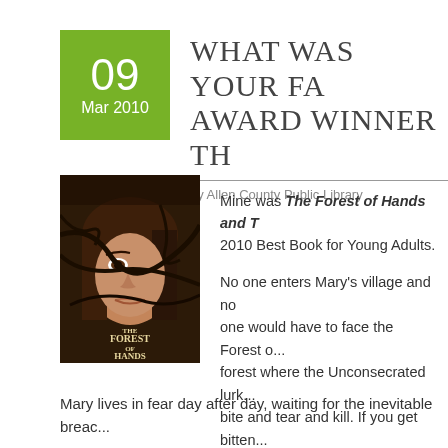WHAT WAS YOUR FA... AWARD WINNER TH...
by Allen County Public Library
[Figure (photo): Book cover of 'The Forest of Hands and Teeth' showing a girl's face partially obscured by branches]
Mine was The Forest of Hands and T... 2010 Best Book for Young Adults.

No one enters Mary's village and no one would have to face the Forest o... forest where the Unconsecrated lurk... bite and tear and kill. If you get bitten... Unconsecrated you become Infected... you but your death and Return.
Mary lives in fear day after day, waiting for the inevitable breac...